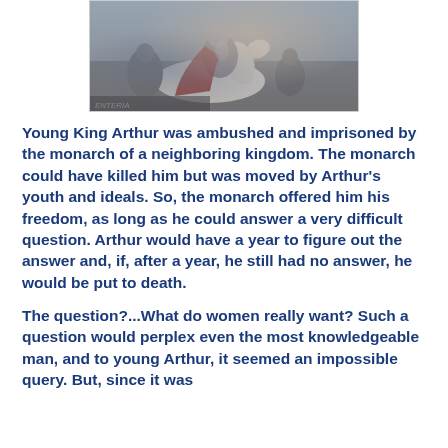[Figure (photo): A knight in armor on a white horse, wearing a dark red cape, with other armored figures in the background. Medieval/fantasy style illustration or movie still.]
Young King Arthur was ambushed and imprisoned by the monarch of a neighboring kingdom. The monarch could have killed him but was moved by Arthur's youth and ideals. So, the monarch offered him his freedom, as long as he could answer a very difficult question. Arthur would have a year to figure out the answer and, if, after a year, he still had no answer, he would be put to death.
The question?...What do women really want? Such a question would perplex even the most knowledgeable man, and to young Arthur, it seemed an impossible query. But, since it was